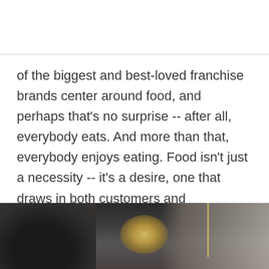of the biggest and best-loved franchise brands center around food, and perhaps that's no surprise -- after all, everybody eats. And more than that, everybody enjoys eating. Food isn't just a necessity -- it's a desire, one that draws in both customers and franchisees.
[Figure (photo): Dark photograph of a restaurant setting, partially visible at the bottom of the page, showing bokeh lights and a skewer or stick prop against a blurred background with warm golden glow.]